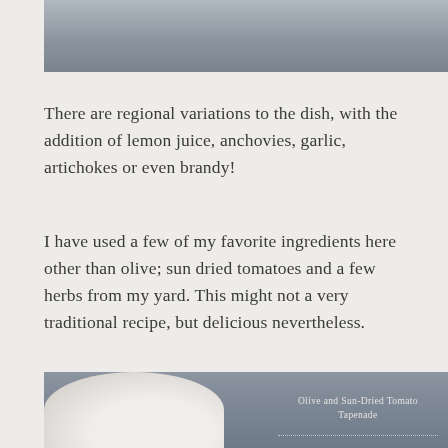[Figure (photo): Top portion of a food photograph, gray/blue blurred background]
There are regional variations to the dish, with the addition of lemon juice, anchovies, garlic, artichokes or even brandy!
I have used a few of my favorite ingredients here other than olive; sun dried tomatoes and a few herbs from my yard. This might not a very traditional recipe, but delicious nevertheless.
[Figure (photo): Bottom food photograph showing a white decorative plate with olive and sun-dried tomato tapenade on a gray stone background, with caption text 'Olive and Sun-Dried Tomato Tapenade' in the center-right area]